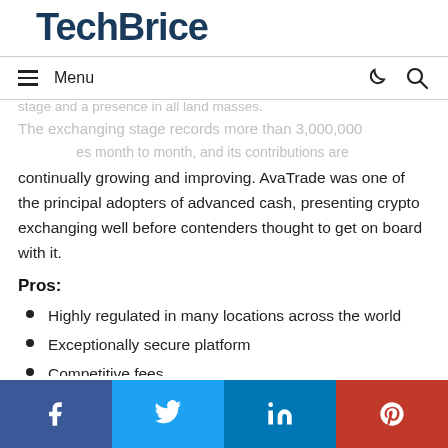TechBrice
stage and a presence in all land masses. The exchanging stage records more than 3,000,000
continually growing and improving. AvaTrade was one of the principal adopters of advanced cash, presenting crypto exchanging well before contenders thought to get on board with it.
Pros:
Highly regulated in many locations across the world
Exceptionally secure platform
Competitive fees
55 currency pairs and crosses available
Facebook Twitter LinkedIn Pinterest social share bar